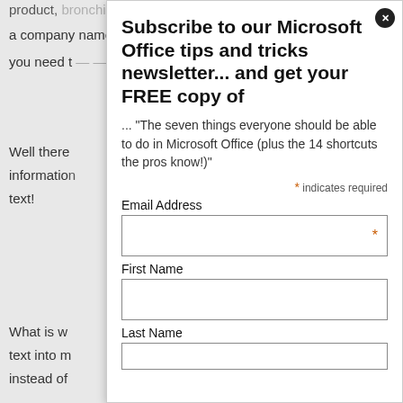product, bronchi
a company name, for sale or simply lots of information
you need t... ...s!
Well there ... hat information... ir text!
What is w... the text into m... instead of
How do yo
1) Select t... the text
2) On the ... e “Alignm
3) Click or
[Figure (screenshot): Newsletter subscription popup overlay with title 'Subscribe to our Microsoft Office tips and tricks newsletter... and get your FREE copy of', book title quote, required field indicator, Email Address field with asterisk, First Name field, and Last Name field beginning.]